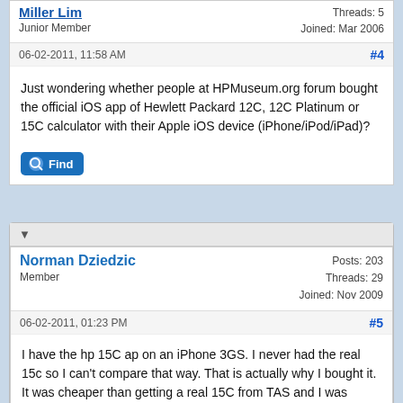Junior Member
Threads: 5
Joined: Mar 2006
06-02-2011, 11:58 AM
#4
Just wondering whether people at HPMuseum.org forum bought the official iOS app of Hewlett Packard 12C, 12C Platinum or 15C calculator with their Apple iOS device (iPhone/iPod/iPad)?
Norman Dziedzic
Member
Posts: 203
Threads: 29
Joined: Nov 2009
06-02-2011, 01:23 PM
#5
I have the hp 15C ap on an iPhone 3GS. I never had the real 15c so I can't compare that way. That is actually why I bought it. It was cheaper than getting a real 15C from TAS and I was hopin to see what all the hype is about.